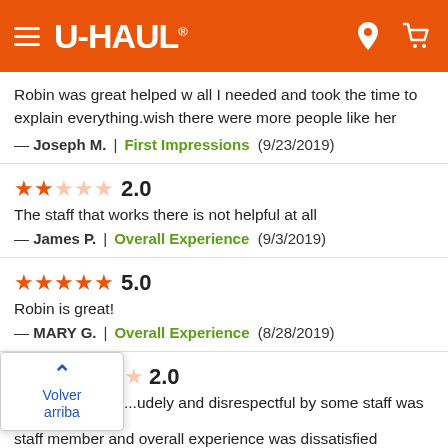U-HAUL
Robin was great helped w all I needed and took the time to explain everything.wish there were more people like her
— Joseph M.  |  First Impressions  (9/23/2019)
2.0
The staff that works there is not helpful at all
— James P.  |  Overall Experience  (9/3/2019)
5.0
Robin is great!
— MARY G.  |  Overall Experience  (8/28/2019)
2.0
...rudely and disrespectful by some staff was threatened by a staff member and overall experience was dissatisfied
— Alisha A.  |  Overall Experience  (7/27/2019)